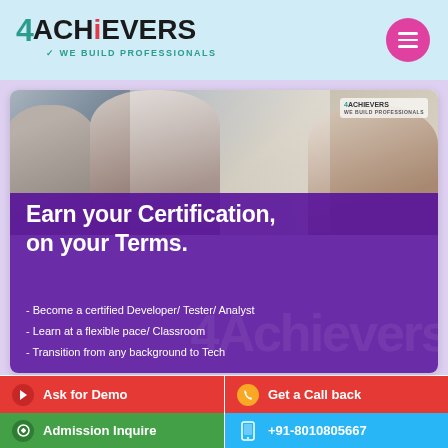4ACHIEVERS - We Build Professionals
[Figure (photo): Three professionals smiling and looking down, in an office/meeting setting. The 4Achievers logo is visible in the upper right of the photo.]
Earn your Certification, on your Terms.
- Become a certified Developer/ Tester/ Analyst
- Learn at a flexible pace/ Classroom
- Transition from any background to Tech
Ask for Demo
Get a Call back
Admission Inquire
+91-8010805667